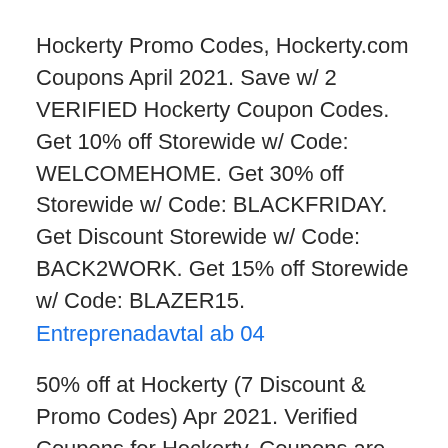Hockerty Promo Codes, Hockerty.com Coupons April 2021. Save w/ 2 VERIFIED Hockerty Coupon Codes. Get 10% off Storewide w/ Code: WELCOMEHOME. Get 30% off Storewide w/ Code: BLACKFRIDAY. Get Discount Storewide w/ Code: BACK2WORK. Get 15% off Storewide w/ Code: BLAZER15.
Entreprenadavtal ab 04
50% off at Hockerty (7 Discount & Promo Codes) Apr 2021. Verified Coupons for Hockerty. Coupons are tested and verified by us or our users. Remember to read the terms and conditions carefully before use them.
Shop for home decorations or products for you and